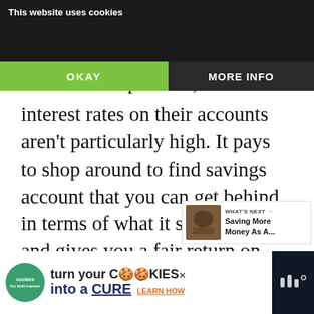so you'll know that the bank you're with is doing something good. The only issue is that, because … a lot to help others, the interest rates on their accounts aren't particularly high. It pays to shop around to find savings account that you can get behind in terms of what it stands for and gives you a fair return on your savings.
[Figure (screenshot): Cookie consent banner with 'This website uses cookies' text, OKAY button (green) and MORE INFO button (dark)]
[Figure (infographic): Like button (teal heart icon) with count 2, and share button below]
[Figure (infographic): What's Next panel with thumbnail and 'Saving More Money As A...' title]
[Figure (screenshot): Bottom advertisement: 'turn your COOKIES into a CURE LEARN HOW' for cookies for kids cancer charity, with close button and dark right panel]